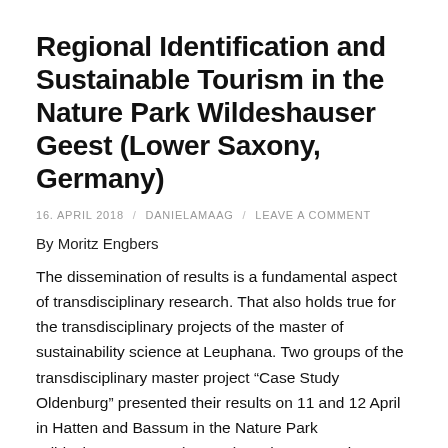Regional Identification and Sustainable Tourism in the Nature Park Wildeshauser Geest (Lower Saxony, Germany)
16. APRIL 2018 / DANIELAMAAG / LEAVE A COMMENT
By Moritz Engbers
The dissemination of results is a fundamental aspect of transdisciplinary research. That also holds true for the transdisciplinary projects of the master of sustainability science at Leuphana. Two groups of the transdisciplinary master project “Case Study Oldenburg” presented their results on 11 and 12 April in Hatten and Bassum in the Nature Park Wildeshauser Geest (NPWG). Both presentations were part of a meeting by representatives